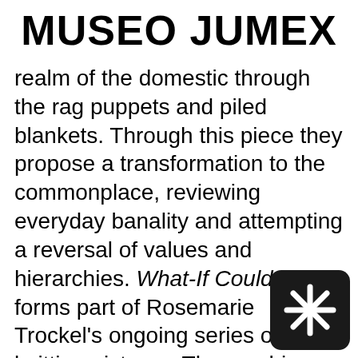MUSEO JUMEX
realm of the domestic through the rag puppets and piled blankets. Through this piece they propose a transformation to the commonplace, reviewing everyday banality and attempting a reversal of values and hierarchies. What-If Could-Be forms part of Rosemarie Trockel’s ongoing series of knitting pictures. The machine knitted wool works purposely combine ‘female craft’ with ‘male machine production’, therefore ironically criticizing the roles women and have been placed into in society art. Trockel creates twists and turns around the prejudices embedded in the
[Figure (logo): Black rounded square with white asterisk/snowflake star symbol — Museo Jumex logo]